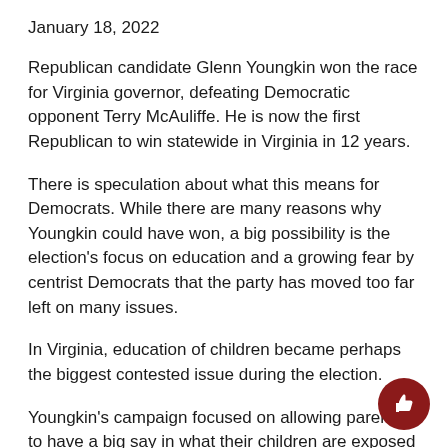January 18, 2022
Republican candidate Glenn Youngkin won the race for Virginia governor, defeating Democratic opponent Terry McAuliffe. He is now the first Republican to win statewide in Virginia in 12 years.
There is speculation about what this means for Democrats. While there are many reasons why Youngkin could have won, a big possibility is the election's focus on education and a growing fear by centrist Democrats that the party has moved too far left on many issues.
In Virginia, education of children became perhaps the biggest contested issue during the election.
Youngkin's campaign focused on allowing parents to have a big say in what their children are exposed to school and what they are being taught. McAuliffe…